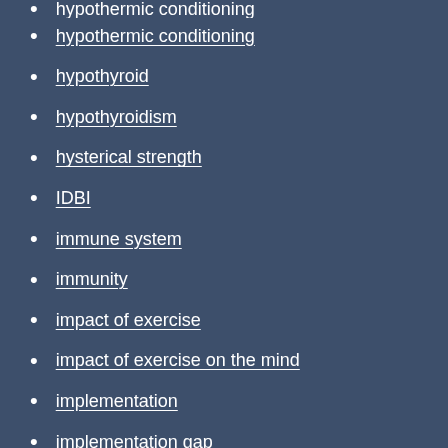hypothermic conditioning (clipped at top)
hypothermic conditioning
hypothyroid
hypothyroidism
hysterical strength
IDBI
immune system
immunity
impact of exercise
impact of exercise on the mind
implementation
implementation gap
insulin
insulin resistance
insulin sensitivity
insurance
intermittent fasting